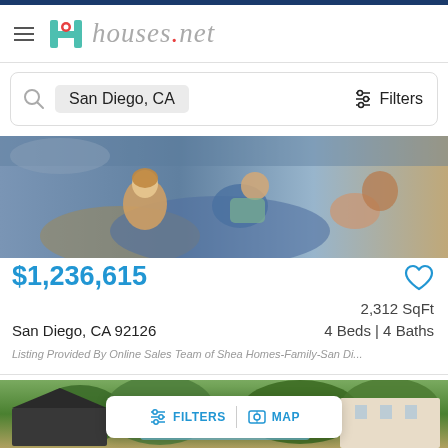[Figure (screenshot): houses.net website header with hamburger menu, teal H logo with red pin, and cursive 'houses.net' text]
San Diego, CA
Filters
[Figure (photo): Photo of family/people relaxing on couch or hammock, blue tones]
$1,236,615
2,312 SqFt
San Diego, CA 92126
4 Beds | 4 Baths
Listing Provided By Online Sales Team of Shea Homes-Family-San Di...
[Figure (photo): Aerial view of residential community with pool, dark-roofed buildings and white stucco buildings surrounded by trees]
FILTERS | MAP